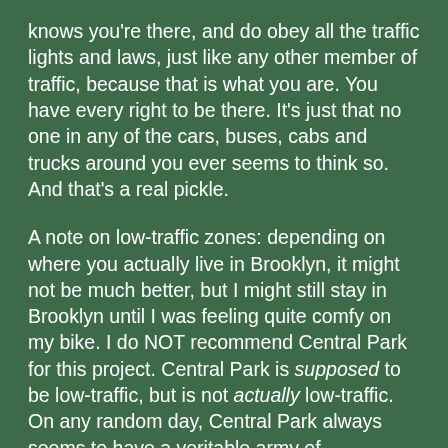knows you're there, and do obey all the traffic lights and laws, just like any other member of traffic, because that is what you are. You have every right to be there. It's just that no one in any of the cars, buses, cabs and trucks around you ever seems to think so. And that's a real pickle.

A note on low-traffic zones: depending on where you actually live in Brooklyn, it might not be much better, but I might still stay in Brooklyn until I was feeling quite comfy on my bike. I do NOT recommend Central Park for this project. Central Park is supposed to be low-traffic, but is not actually low-traffic. On any random day, Central Park always seems to have a veritable army of meandering tourist bike renters, your average NYC bikers just getting around, packs of Lance Armstrongs/Tour De France wannabes-in-training who use it as a closed-circuit race track, car/cab traffic that views it as a much speedier route than the avenues with all those pesky stoplights every block, horse-n-buggy traffic, pedicab traffic, the occasional careening Poorhouse Trolley, and